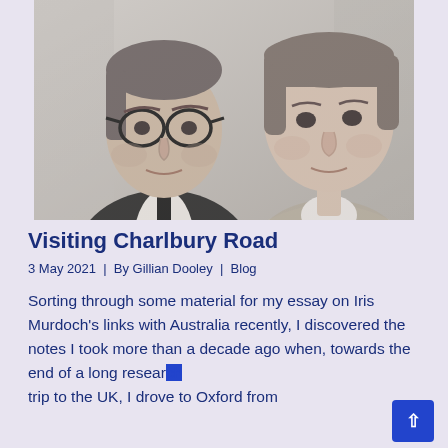[Figure (photo): Black and white photograph of two people: a man with glasses on the left and a woman on the right, both looking at the camera. Close-up portrait style.]
Visiting Charlbury Road
3 May 2021  |  By Gillian Dooley  |  Blog
Sorting through some material for my essay on Iris Murdoch's links with Australia recently, I discovered the notes I took more than a decade ago when, towards the end of a long research trip to the UK, I drove to Oxford from